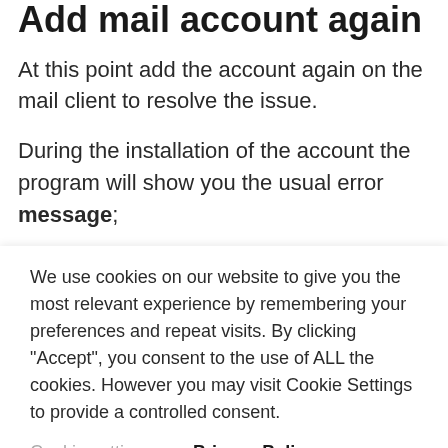Add mail account again
At this point add the account again on the mail client to resolve the issue.
During the installation of the account the program will show you the usual error message;
We use cookies on our website to give you the most relevant experience by remembering your preferences and repeat visits. By clicking “Accept”, you consent to the use of ALL the cookies. However you may visit Cookie Settings to provide a controlled consent.
Cookie settings    Privacy Policy
ACCEPT    x